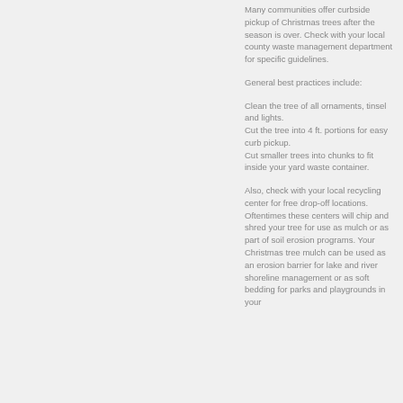Many communities offer curbside pickup of Christmas trees after the season is over. Check with your local county waste management department for specific guidelines.
General best practices include:
Clean the tree of all ornaments, tinsel and lights.
Cut the tree into 4 ft. portions for easy curb pickup.
Cut smaller trees into chunks to fit inside your yard waste container.
Also, check with your local recycling center for free drop-off locations. Oftentimes these centers will chip and shred your tree for use as mulch or as part of soil erosion programs. Your Christmas tree mulch can be used as an erosion barrier for lake and river shoreline management or as soft bedding for parks and playgrounds in your